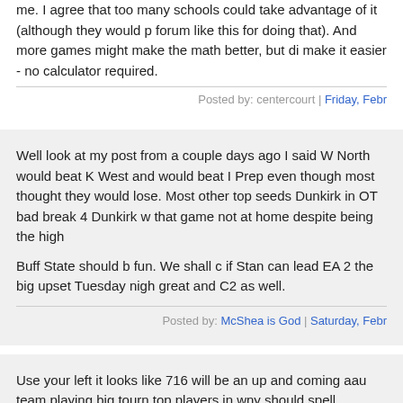me. I agree that too many schools could take advantage of it (although they would probably be called out on a forum like this for doing that). And more games might make the math better, but did not necessarily make it easier - no calculator required.
Posted by: centercourt | Friday, Febr
Well look at my post from a couple days ago I said W North would beat K West and would beat I Prep even though most thought they would lose. Most other top seeds Dunkirk in OT bad break 4 Dunkirk w that game not at home despite being the high
Buff State should b fun. We shall c if Stan can lead EA 2 the big upset Tuesday nigh great and C2 as well.
Posted by: McShea is God | Saturday, Febr
Use your left it looks like 716 will be an up and coming aau team playing big tourn top players in wny should spell success for our players
Posted by: Roundman | Saturday, Febr